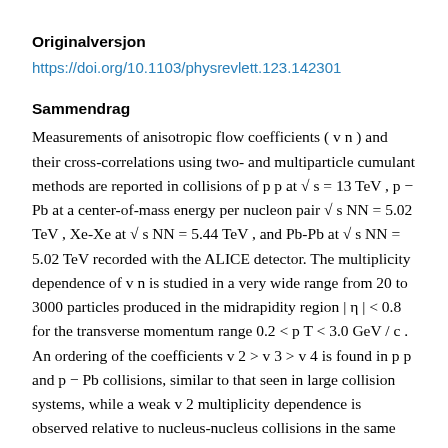Originalversjon
https://doi.org/10.1103/physrevlett.123.142301
Sammendrag
Measurements of anisotropic flow coefficients ( v n ) and their cross-correlations using two- and multiparticle cumulant methods are reported in collisions of p p at √ s = 13 TeV , p − Pb at a center-of-mass energy per nucleon pair √ s NN = 5.02 TeV , Xe-Xe at √ s NN = 5.44 TeV , and Pb-Pb at √ s NN = 5.02 TeV recorded with the ALICE detector. The multiplicity dependence of v n is studied in a very wide range from 20 to 3000 particles produced in the midrapidity region | η | < 0.8 for the transverse momentum range 0.2 < p T < 3.0 GeV / c . An ordering of the coefficients v 2 > v 3 > v 4 is found in p p and p − Pb collisions, similar to that seen in large collision systems, while a weak v 2 multiplicity dependence is observed relative to nucleus-nucleus collisions in the same multiplicity range. Using a novel subevent